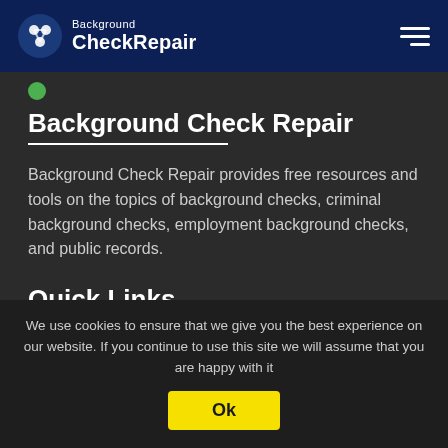Background CheckRepair
Background Check Repair
Background Check Repair provides free resources and tools on the topics of background checks, criminal background checks, employment background checks, and public records.
Quick Links
Background Checks (partially visible)
We use cookies to ensure that we give you the best experience on our website. If you continue to use this site we will assume that you are happy with it